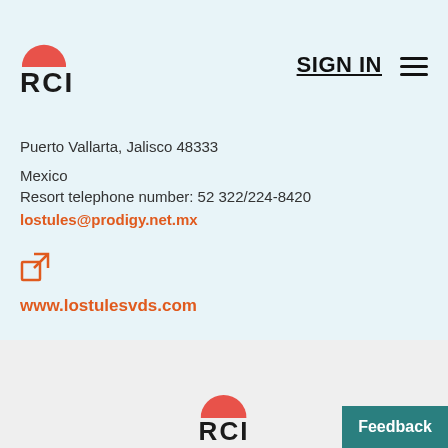[Figure (logo): RCI logo with pink/red semicircle above bold RCI text, in top navigation bar]
SIGN IN  ☰
Puerto Vallarta, Jalisco 48333
Mexico
Resort telephone number: 52 322/224-8420
lostules@prodigy.net.mx
www.lostulesvds.com
[Figure (logo): RCI logo with pink/red semicircle above bold RCI text, in bottom footer area]
Feedback